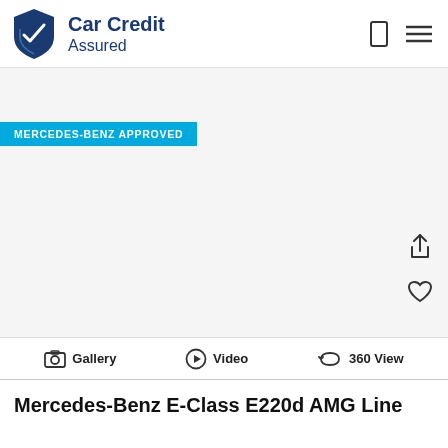[Figure (logo): Car Credit Assured logo with shield icon]
[Figure (photo): Vehicle listing page with MERCEDES-BENZ APPROVED badge on white/light background — car image area]
MERCEDES-BENZ APPROVED
Gallery   Video   360 View
Mercedes-Benz E-Class E220d AMG Line